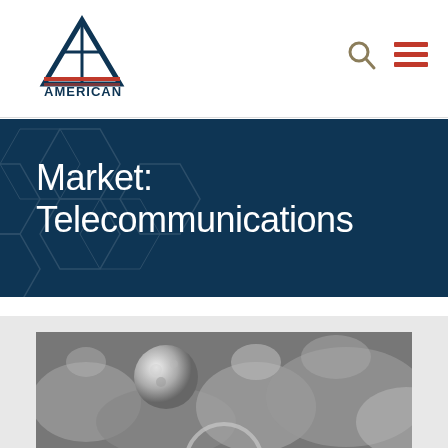[Figure (logo): American Engineering Testing logo — triangle/mountain shape in navy with red horizontal stripes, text 'AMERICAN ENGINEERING TESTING' below]
Market: Telecommunications
[Figure (photo): Black and white electron microscope image showing textured granular material surface, with a partially visible play button circle overlay in the lower center]